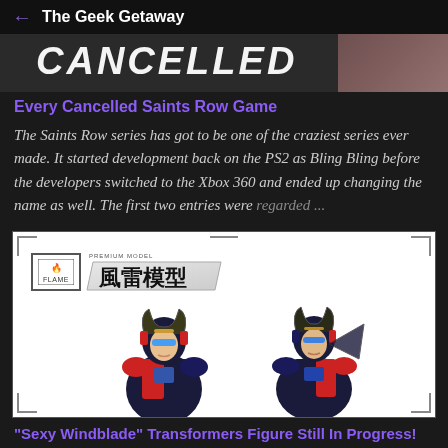← The Geek Getaway
[Figure (photo): Top image strip showing partial text 'CANCELLED' in large white bold italic letters on a dark background, with partial photo on the right side]
Every Cancelled Saints Row Game
The Saints Row series has got to be one of the craziest series ever made. It started development back on the PS2 as Bling Bling before the developers switched to the Xbox 360 and ended up changing the name as well. The first two entries were regarded ...
[Figure (illustration): Anime-style illustration of two robot/transformer characters in a white framed box with tech corner decorations. Logo in upper left shows 'FLAME' brand icon and Chinese characters '風雷模型' (Windblade Model). Characters appear to be female Transformer designs in dark blue and red armor with mechanical headgear.]
"Sexy Windblade" Transformers Figure Still In Progress!
concept art drawn by Ban (NSFW site) There was a recent